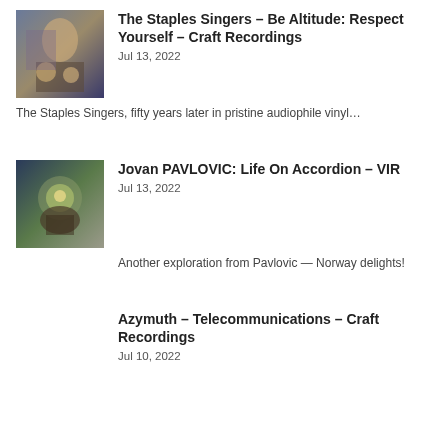[Figure (photo): Album cover thumbnail for The Staples Singers - Be Altitude: Respect Yourself]
The Staples Singers – Be Altitude: Respect Yourself – Craft Recordings
Jul 13, 2022
The Staples Singers, fifty years later in pristine audiophile vinyl…
[Figure (photo): Album cover thumbnail for Jovan PAVLOVIC: Life On Accordion – VIR]
Jovan PAVLOVIC: Life On Accordion – VIR
Jul 13, 2022
Another exploration from Pavlovic — Norway delights!
Azymuth – Telecommunications – Craft Recordings
Jul 10, 2022